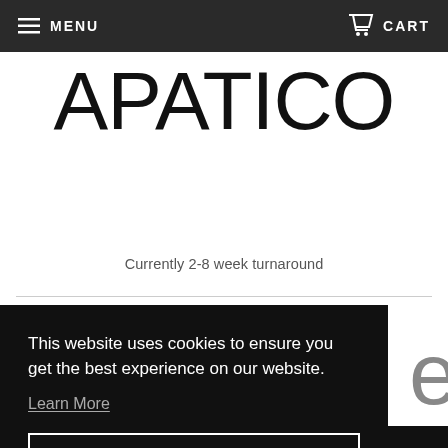MENU   CART
APATICO
Currently 2-8 week turnaround
This website uses cookies to ensure you get the best experience on our website.
Learn More
Got it!